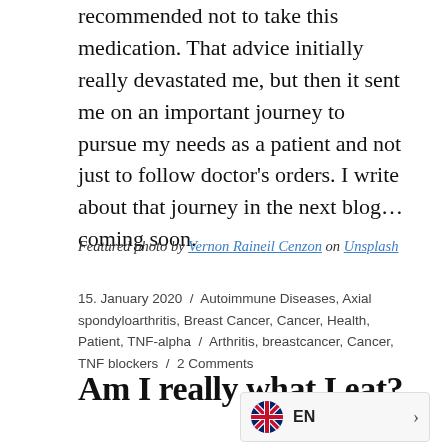recommended not to take this medication. That advice initially really devastated me, but then it sent me on an important journey to pursue my needs as a patient and not just to follow doctor’s orders. I write about that journey in the next blog… coming soon.
Featured photo by Vernon Raineil Cenzon on Unsplash
15. January 2020 / Autoimmune Diseases, Axial spondyloarthritis, Breast Cancer, Cancer, Health, Patient, TNF-alpha / Arthritis, breastcancer, Cancer, TNF blockers / 2 Comments
Am I really what I eat?